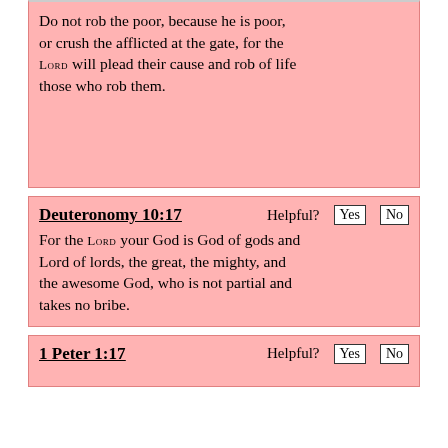Do not rob the poor, because he is poor, or crush the afflicted at the gate, for the LORD will plead their cause and rob of life those who rob them.
Deuteronomy 10:17
For the LORD your God is God of gods and Lord of lords, the great, the mighty, and the awesome God, who is not partial and takes no bribe.
1 Peter 1:17